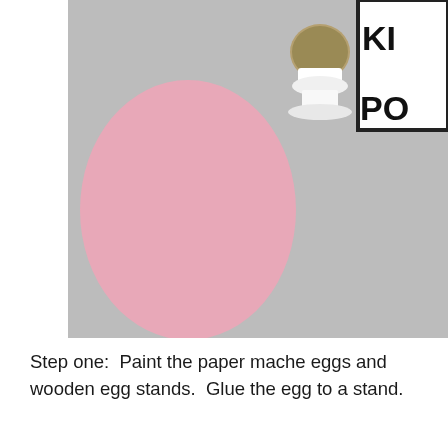[Figure (photo): Top-down view of a pink painted paper mache egg on a grey surface, alongside a white egg cup stand with brown glue/paint, and a black and white 'Mod Podge' product sign in the upper right corner.]
Step one:  Paint the paper mache eggs and wooden egg stands.  Glue the egg to a stand.
[Figure (photo): Photo showing a pink paper mache egg opened/cut, revealing a dark interior oval shape, next to a smaller pink oval cutout and a pair of yellow and black scissors with light blue handles, on a grey surface. A Mod Podge sign is partially visible in the bottom right corner.]